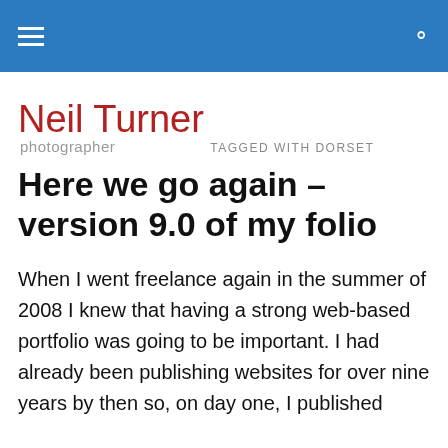Neil Turner photographer — navigation bar with hamburger menu and search icon
Neil Turner
photographer
TAGGED WITH DORSET
Here we go again – version 9.0 of my folio
When I went freelance again in the summer of 2008 I knew that having a strong web-based portfolio was going to be important. I had already been publishing websites for over nine years by then so, on day one, I published